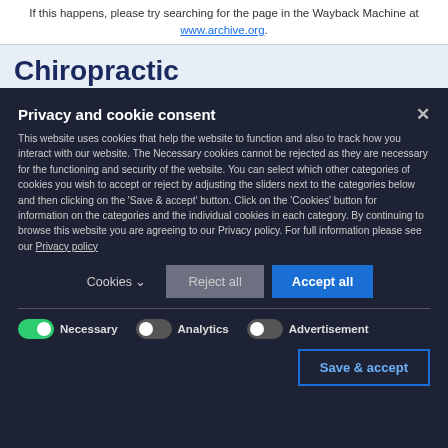If this happens, please try searching for the page in the Wayback Machine at www.archive.org.
Chiropractic
Privacy and cookie consent
This website uses cookies that help the website to function and also to track how you interact with our website. The Necessary cookies cannot be rejected as they are necessary for the functioning and security of the website. You can select which other categories of cookies you wish to accept or reject by adjusting the sliders next to the categories below and then clicking on the 'Save & accept' button. Click on the 'Cookies' button for information on the categories and the individual cookies in each category. By continuing to browse this website you are agreeing to our Privacy policy. For full information please see our Privacy policy
Cookies  Reject all  Accept all
Necessary  Analytics  Advertisement
Save & accept